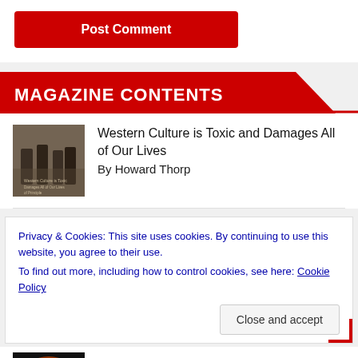Post Comment
MAGAZINE CONTENTS
Western Culture is Toxic and Damages All of Our Lives
By Howard Thorp
Privacy & Cookies: This site uses cookies. By continuing to use this website, you agree to their use.
To find out more, including how to control cookies, see here: Cookie Policy
Close and accept
Editorial